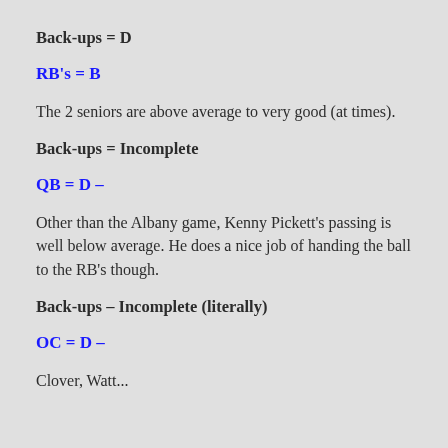Back-ups = D
RB's = B
The 2 seniors are above average to very good (at times).
Back-ups = Incomplete
QB = D –
Other than the Albany game, Kenny Pickett's passing is well below average. He does a nice job of handing the ball to the RB's though.
Back-ups – Incomplete (literally)
OC = D –
Clover, Watt...